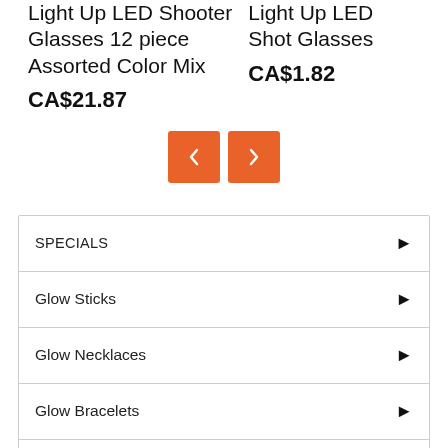Light Up LED Shooter Glasses 12 piece Assorted Color Mix
CA$21.87
Light Up LED Shot Glasses
CA$1.82
[Figure (other): Navigation previous and next orange square buttons with arrow chevrons]
SPECIALS
Glow Sticks
Glow Necklaces
Glow Bracelets
Light Up Bar Products